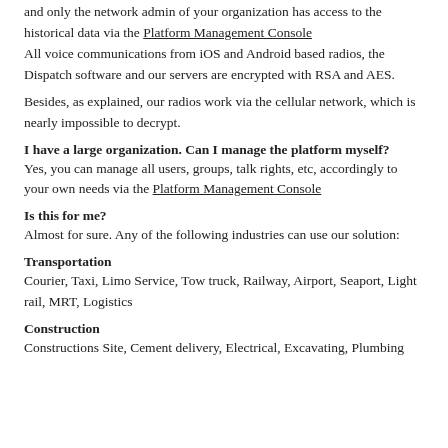and only the network admin of your organization has access to the historical data via the Platform Management Console
All voice communications from iOS and Android based radios, the Dispatch software and our servers are encrypted with RSA and AES.
Besides, as explained, our radios work via the cellular network, which is nearly impossible to decrypt.
I have a large organization. Can I manage the platform myself?
Yes, you can manage all users, groups, talk rights, etc, accordingly to your own needs via the Platform Management Console
Is this for me?
Almost for sure. Any of the following industries can use our solution:
Transportation
Courier, Taxi, Limo Service, Tow truck, Railway, Airport, Seaport, Light rail, MRT, Logistics
Construction
Constructions Site, Cement delivery, Electrical, Excavating, Plumbing